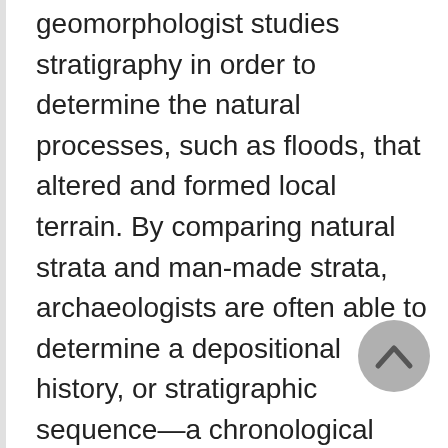geomorphologist studies stratigraphy in order to determine the natural processes, such as floods, that altered and formed local terrain. By comparing natural strata and man-made strata, archaeologists are often able to determine a depositional history, or stratigraphic sequence—a chronological order of various layers, interfaces, and stratigraphic disturbances. Stratigraphic data may be translated into abstract diagrams, with each deposit's diagram